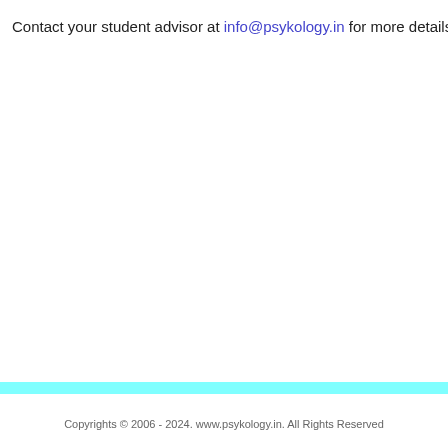Contact your student advisor at info@psykology.in for more details on registration, a
Copyrights © 2006 - 2024. www.psykology.in. All Rights Reserved